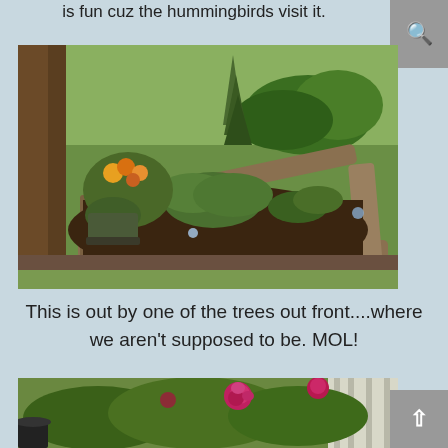is fun cuz the hummingbirds visit it.
[Figure (photo): A raised garden bed made of wooden railroad ties/timbers, planted with various plants including hostas, flowering plants with yellow and orange flowers, and green shrubs. The garden is situated next to a large tree trunk, on a lawn with green grass.]
This is out by one of the trees out front....where we aren't supposed to be. MOL!
[Figure (photo): A garden bed with rose bushes showing pink/magenta blooms and green foliage, situated next to the side of a house with white siding.]